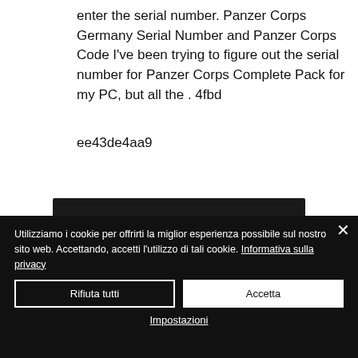enter the serial number. Panzer Corps Germany Serial Number and Panzer Corps Code I've been trying to figure out the serial number for Panzer Corps Complete Pack for my PC, but all the . 4fbd
ee43de4aa9
Utilizziamo i cookie per offrirti la miglior esperienza possibile sul nostro sito web. Accettando, accetti l'utilizzo di tali cookie. Informativa sulla privacy
Rifiuta tutti
Accetta
Impostazioni